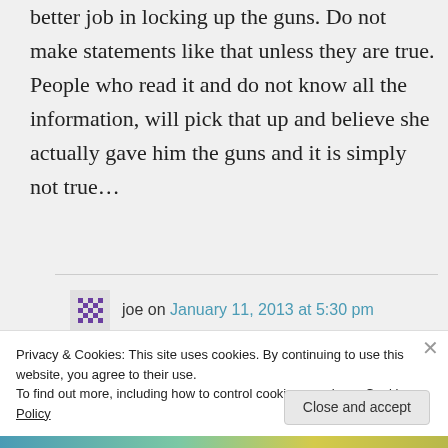better job in locking up the guns. Do not make statements like that unless they are true. People who read it and do not know all the information, will pick that up and believe she actually gave him the guns and it is simply not true…
joe on January 11, 2013 at 5:30 pm
Privacy & Cookies: This site uses cookies. By continuing to use this website, you agree to their use.
To find out more, including how to control cookies, see here: Cookie Policy